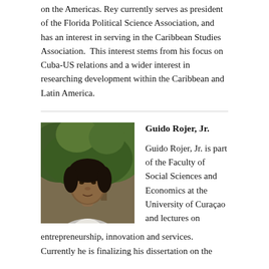on the Americas. Rey currently serves as president of the Florida Political Science Association, and has an interest in serving in the Caribbean Studies Association.  This interest stems from his focus on Cuba-US relations and a wider interest in researching development within the Caribbean and Latin America.
[Figure (photo): Headshot photo of Guido Rojer, Jr., a man in a light grey blazer standing in front of trees.]
Guido Rojer, Jr.
Guido Rojer, Jr. is part of the Faculty of Social Sciences and Economics at the University of Curaçao and lectures on entrepreneurship, innovation and services. Currently he is finalizing his dissertation on the